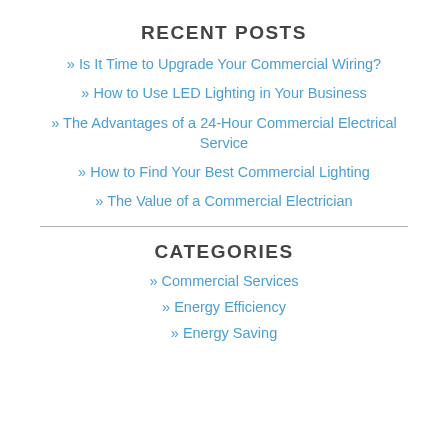RECENT POSTS
» Is It Time to Upgrade Your Commercial Wiring?
» How to Use LED Lighting in Your Business
» The Advantages of a 24-Hour Commercial Electrical Service
» How to Find Your Best Commercial Lighting
» The Value of a Commercial Electrician
CATEGORIES
» Commercial Services
» Energy Efficiency
» Energy Saving